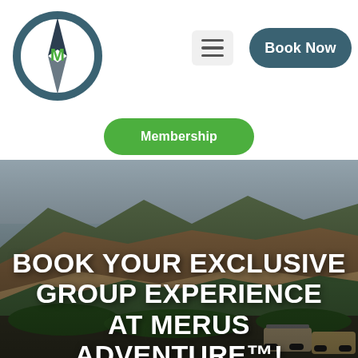[Figure (logo): Merus Adventure compass logo — dark teal circle with compass needle and green M letter in center]
[Figure (other): Hamburger menu icon button (three horizontal lines) on light gray rounded rectangle]
[Figure (other): Book Now button — dark teal pill-shaped button with white bold text]
[Figure (other): Membership button — green pill-shaped button with white bold text]
[Figure (photo): Outdoor landscape photo showing rocky red and brown mountains/hills with green shrubs and vegetation, off-road vehicles visible at bottom right, overcast sky]
BOOK YOUR EXCLUSIVE GROUP EXPERIENCE AT MERUS ADVENTURE™!